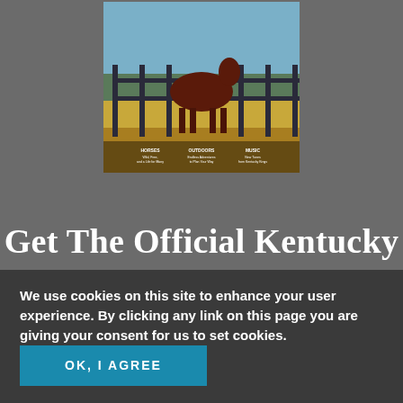[Figure (photo): Kentucky travel magazine cover featuring a chestnut horse standing in a golden field with a dark wooden fence, with small text columns at the bottom reading HORSES, OUTDOORS, MUSIC]
Get The Official Kentucky
We use cookies on this site to enhance your user experience. By clicking any link on this page you are giving your consent for us to set cookies.
LEARN MORE
OK, I AGREE